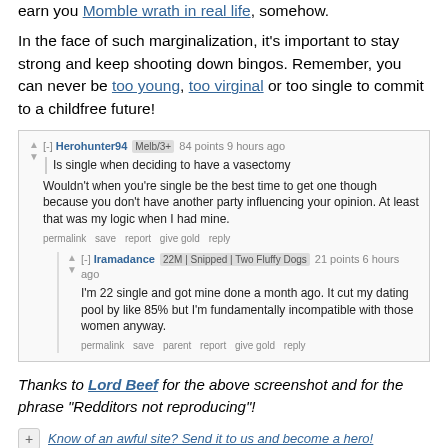earn you Momble wrath in real life, somehow.
In the face of such marginalization, it's important to stay strong and keep shooting down bingos. Remember, you can never be too young, too virginal or too single to commit to a childfree future!
[Figure (screenshot): Reddit comment thread screenshot showing Herohunter94 and Iramadance discussing vasectomy while single]
Thanks to Lord Beef for the above screenshot and for the phrase "Redditors not reproducing"!
Know of an awful site? Send it to us and become a hero!
– Adam "rubber cat" Jameson (@robbercat)
Previous   More Awful Link of the Day   Next
This Week on Something Awful...